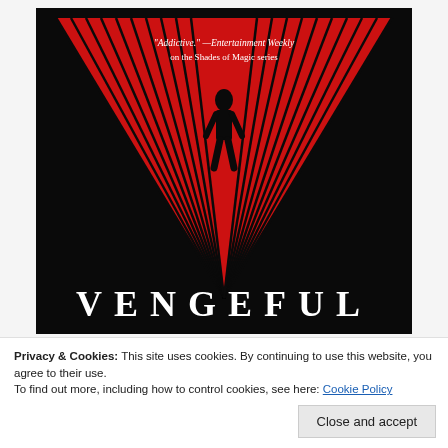[Figure (illustration): Book cover of 'Vengeful' by V.E. Schwab. Black background with a large red V shape formed by converging lines. A silhouetted figure walks in the center. At top: quote 'Addictive. — Entertainment Weekly on the Shades of Magic series'. At bottom: large serif text 'VENGEFUL'.]
Privacy & Cookies: This site uses cookies. By continuing to use this website, you agree to their use.
To find out more, including how to control cookies, see here: Cookie Policy
Close and accept